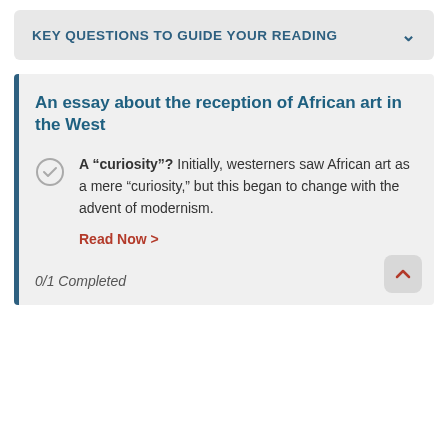KEY QUESTIONS TO GUIDE YOUR READING
An essay about the reception of African art in the West
A “curiosity”? Initially, westerners saw African art as a mere “curiosity,” but this began to change with the advent of modernism.
Read Now >
0/1 Completed